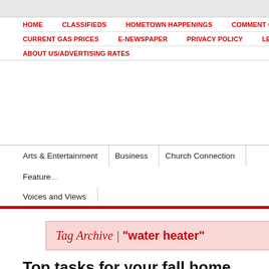HOME  CLASSIFIEDS  HOMETOWN HAPPENINGS  COMMENT GU... CURRENT GAS PRICES  E-NEWSPAPER  PRIVACY POLICY  LEGA... ABOUT US/ADVERTISING RATES
Arts & Entertainment  Business  Church Connection  Feature...  Voices and Views
Tag Archive | "water heater"
Top tasks for your fall home maintenance
Posted on 22 August 2013. Tags: checklist, chimney, Cost Guide, furnace, gutters, home heater, weather stripping
(StatePoint) Keeping your home in sh...